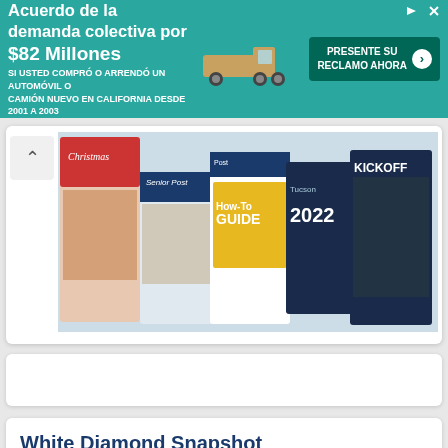[Figure (infographic): Ad banner in teal/green: 'Acuerdo de la demanda colectiva por $82 Millones - SI USTED COMPRÓ O ARRENDÓ UN AUTOMÓVIL O CAMIÓN NUEVO EN CALIFORNIA DESDE 2001 A 2003' with truck image and CTA button 'PRESENTE SU RECLAMO AHORA']
[Figure (screenshot): Magazine editions collage showing Senior Post, Post, How-To Guide, 2022 edition, and Kickoff magazine covers]
[Figure (other): Empty white card with shadow]
White Diamond Snapshot
[Figure (infographic): Two-column real estate snapshot: Single Family Homes | Townhomes/Condos, each showing JULY with 2021 and 2022 columns]